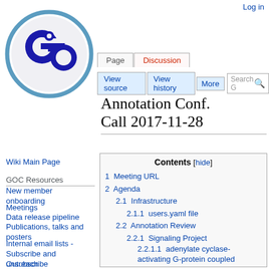Log in
[Figure (logo): Gene Ontology Consortium circular logo with 'go' letters in dark blue on white background with blue circle border]
Page | Discussion
View source | View history | More | Search GO
Annotation Conf. Call 2017-11-28
Wiki Main Page
GOC Resources
New member onboarding
Meetings
Data release pipeline
Publications, talks and posters
Internal email lists - Subscribe and unsubscribe
Outreach
Member offboarding
| 1 | Meeting URL |
| 2 | Agenda |
| 2.1 | Infrastructure |
| 2.1.1 | users.yaml file |
| 2.2 | Annotation Review |
| 2.2.1 | Signaling Project |
| 2.2.1.1 | adenylate cyclase-activating G-protein coupled receptor signaling pathway |